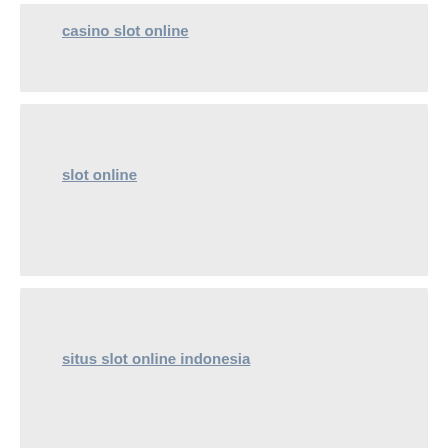casino slot online
slot online
situs slot online indonesia
situs slot online indonesia